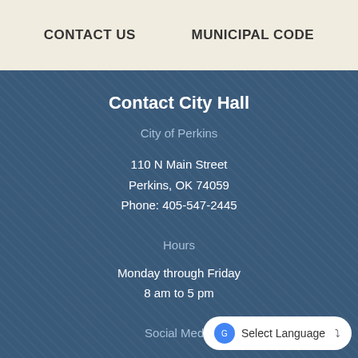CONTACT US    MUNICIPAL CODE
Contact City Hall
City of Perkins
110 N Main Street
Perkins, OK 74059
Phone: 405-547-2445
Hours
Monday through Friday
8 am to 5 pm
Social Media